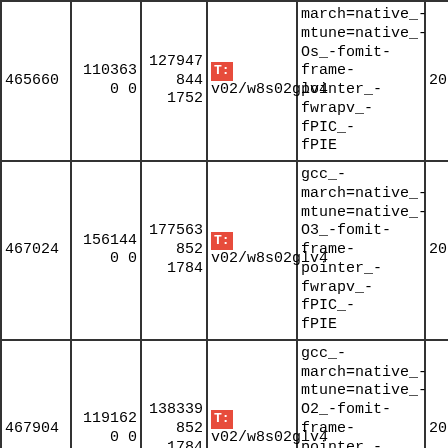| col1 | col2 | col3 | col4 | col5 | col6 |
| --- | --- | --- | --- | --- | --- |
| 465660 | 110363
0 0 | 127947
844
1752 | T: v02/w8s02glv4 | march=native_-mtune=native_-Os_-fomit-frame-pointer_-fwrapv_-fPIC_-fPIE | 20210... |
| 467024 | 156144
0 0 | 177563
852
1784 | T: v02/w8s02glv4 | gcc_-march=native_-mtune=native_-O3_-fomit-frame-pointer_-fwrapv_-fPIC_-fPIE | 20210... |
| 467904 | 119162
0 0 | 138339
852
1784 | T: v02/w8s02glv4 | gcc_-march=native_-mtune=native_-O2_-fomit-frame-pointer_-fwrapv_-fPIC_-fPIE | 20210... |
| 469082 | 120611
0 0 | 139283
852
1784 | T: v02/w8s02glv4 | gcc_-march=native_-mtune=native_-O_-fomit-frame-pointer_-fwrapv_-fPIC_-... | 20210... |